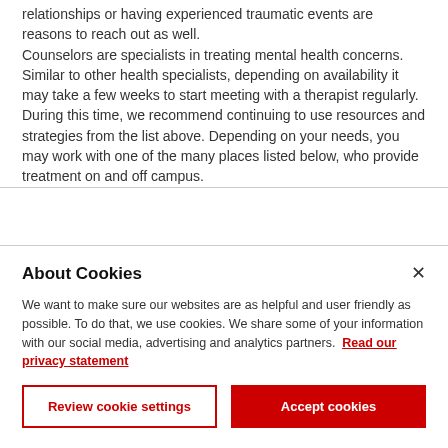relationships or having experienced traumatic events are reasons to reach out as well.

Counselors are specialists in treating mental health concerns. Similar to other health specialists, depending on availability it may take a few weeks to start meeting with a therapist regularly. During this time, we recommend continuing to use resources and strategies from the list above. Depending on your needs, you may work with one of the many places listed below, who provide treatment on and off campus.
About Cookies

We want to make sure our websites are as helpful and user friendly as possible. To do that, we use cookies. We share some of your information with our social media, advertising and analytics partners. Read our privacy statement